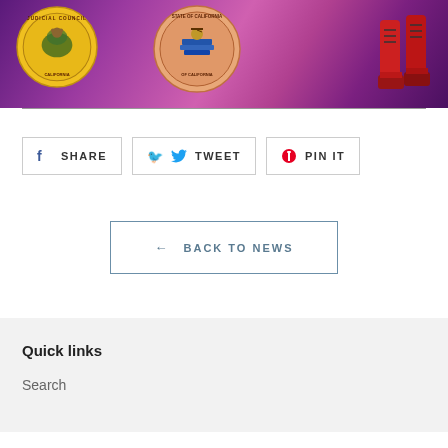[Figure (photo): Banner image with purple/pink gradient background showing two California state seals (Judicial Council of California on left, State of California in center) and red boots on the right side.]
SHARE   TWEET   PIN IT
← BACK TO NEWS
Quick links
Search